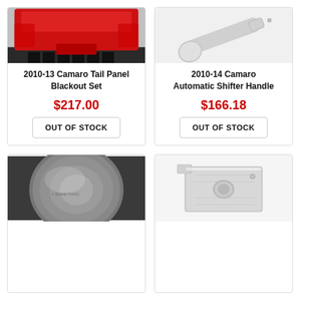[Figure (photo): Rear view of a red Camaro showing tail panel blackout set installed]
2010-13 Camaro Tail Panel Blackout Set
$217.00
OUT OF STOCK
[Figure (photo): Chrome automatic shifter handle accessory for Camaro, showing polished metal knob and arm]
2010-14 Camaro Automatic Shifter Handle
$166.18
OUT OF STOCK
[Figure (photo): Close-up of a polished metal automotive part, appears to be a billet aluminum component]
[Figure (photo): Silver/aluminum rectangular plate automotive accessory with mounting hole]